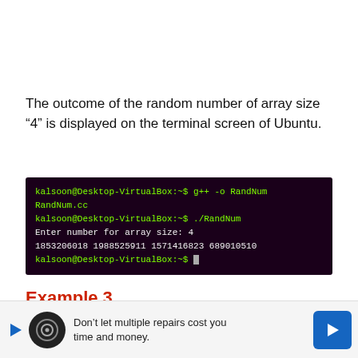The outcome of the random number of array size “4” is displayed on the terminal screen of Ubuntu.
[Figure (screenshot): Terminal output showing: kalsoon@Desktop-VirtualBox:~$ g++ -o RandNum RandNum.cc, kalsoon@Desktop-VirtualBox:~$ ./RandNum, Enter number for array size: 4, 1853206018 1988525911 1571416823 689010510, kalsoon@Desktop-VirtualBox:~$]
Example 3
We can also generate random numbers within the range. In the following program, we implemented the way to fill an array with random integers inside a range in C++. We have created an array as “Arr” which input
[Figure (other): Advertisement banner: Don't let multiple repairs cost you time and money.]